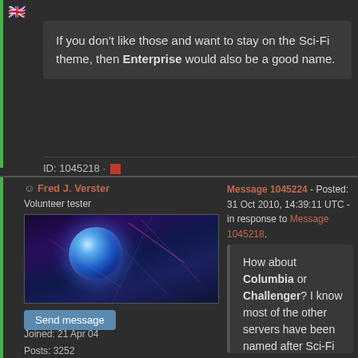If you don't like those and want to stay on the Sci-Fi theme, then Enterprise would also be a good name.
ID: 1045218 · ■
Fred J. Verster
Volunteer tester
Message 1045224 - Posted: 31 Oct 2010, 14:39:11 UTC - in response to Message 1045218.
Send message
Joined: 21 Apr 04
Posts: 3252
Credit: 31,903,643
RAC: 0
How about Columbia or Challenger? I know most of the other servers have been named after Sci-Fi characters, but the Shuttle program is drawing to a close, and those seem like good names to use. Future servers